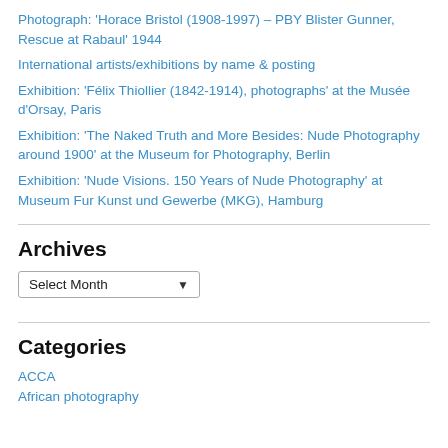Photograph: 'Horace Bristol (1908-1997) – PBY Blister Gunner, Rescue at Rabaul' 1944
International artists/exhibitions by name & posting
Exhibition: 'Félix Thiollier (1842-1914), photographs' at the Musée d'Orsay, Paris
Exhibition: 'The Naked Truth and More Besides: Nude Photography around 1900' at the Museum for Photography, Berlin
Exhibition: 'Nude Visions. 150 Years of Nude Photography' at Museum Fur Kunst und Gewerbe (MKG), Hamburg
Archives
Select Month
Categories
ACCA
African photography